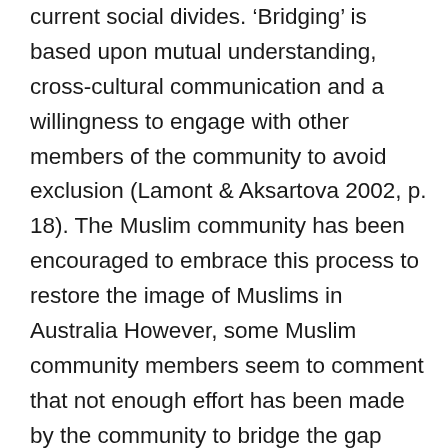current social divides. 'Bridging' is based upon mutual understanding, cross-cultural communication and a willingness to engage with other members of the community to avoid exclusion (Lamont & Aksartova 2002, p. 18). The Muslim community has been encouraged to embrace this process to restore the image of Muslims in Australia However, some Muslim community members seem to comment that not enough effort has been made by the community to bridge the gap between Muslim and non-Muslim Australians. According to Deen (2003, p. 283), since the Gulf War, Muslim communities, including religious and ethnic groups, have failed to “build bridges” with the non-Muslim communities, fostering ignorance and xenophobia. However, blaming Muslim Australians for the exclusionary discourse supported by some non-Muslim Australians appears to be a dangerous excuse. According to Deen (2003) many community organisations have tried to address this gap between Muslim and non-Muslim